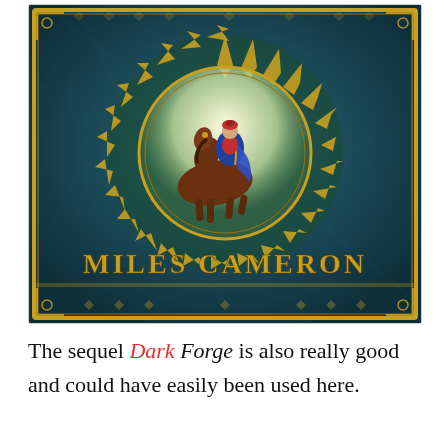[Figure (illustration): Book cover art for a Miles Cameron novel. Dark teal/blue textured background with ornate gold border. Central circular medallion with golden sun-ray flames surrounds a painted scene of a figure in medieval/fantasy attire riding a brown horse. The rider wears a red cap and blue cape. Below the medallion, gold serif text reads 'MILES CAMERON'.]
The sequel Dark Forge is also really good and could have easily been used here.